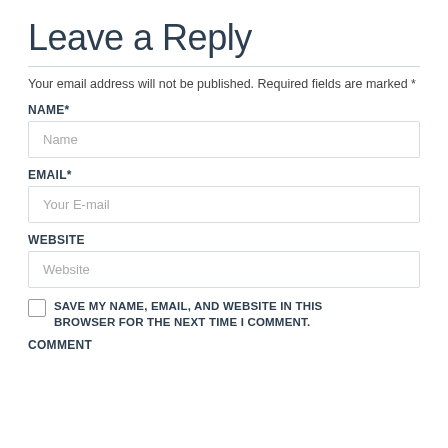Leave a Reply
Your email address will not be published. Required fields are marked *
NAME*
Name
EMAIL*
Your E-mail
WEBSITE
Website
SAVE MY NAME, EMAIL, AND WEBSITE IN THIS BROWSER FOR THE NEXT TIME I COMMENT.
COMMENT